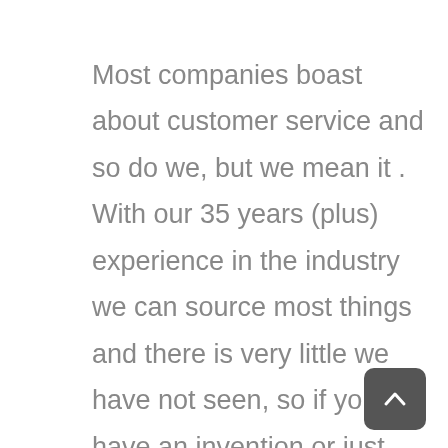Most companies boast about customer service and so do we, but we mean it . With our 35 years (plus) experience in the industry we can source most things and there is very little we have not seen, so if you have an invention or just want a custom hockey bag for your son we will make it our goal to satisfy your needs. Westside Canvas and